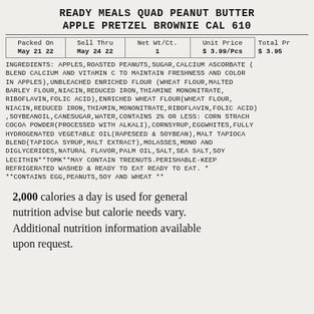READY MEALS QUAD PEANUT BUTTER APPLE PRETZEL BROWNIE CAL 610
| Packed On | Sell Thru | Net Wt/Ct. | Unit Price | Total Pr |
| --- | --- | --- | --- | --- |
| May 21 22 | May 24 22 | 1 | $ 3.99/Pcs | $ 3.95 |
INGREDIENTS: APPLES,ROASTED PEANUTS,SUGAR,CALCIUM ASCORBATE (BLEND CALCIUM AND VITAMIN C TO MAINTAIN FRESHNESS AND COLOR IN APPLES),UNBLEACHED ENRICHED FLOUR (WHEAT FLOUR,MALTED BARLEY FLOUR,NIACIN,REDUCED IRON,THIAMINE MONONITRATE,RIBOFLAVIN,FOLIC ACID),ENRICHED WHEAT FLOUR(WHEAT FLOUR,NIACIN,REDUCED IRON,THIAMIN,MONONITRATE,RIBOFLAVIN,FOLIC ACID),SOYBEANOIL,CANESUGAR,WATER,CONTAINS 2% OR LESS: CORN STARCH,COCOA POWDER(PROCESSED WITH ALKALI),CORNSYRUP,EGGWHITES,FULLY HYDROGENATED VEGETABLE OIL(RAPESEED & SOYBEAN),MALT TAPIOCA BLEND(TAPIOCA SYRUP,MALT EXTRACT),MOLASSES,MONO AND DIGLYCERIDES,NATURAL FLAVOR,PALM OIL,SALT,SEA SALT,SOY LECITHIN**TOMK**MAY CONTAIN TREENUTS.PERISHABLE-KEEP REFRIGERATED WASHED & READY TO EAT READY TO EAT. **CONTAINS EGG,PEANUTS,SOY AND WHEAT **
2,000 calories a day is used for general nutrition advise but calorie needs vary. Additional nutrition information available upon request.